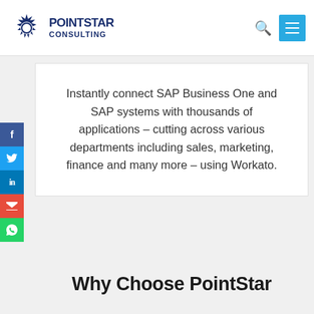[Figure (logo): PointStar Consulting logo with star icon and company name]
Instantly connect SAP Business One and SAP systems with thousands of applications – cutting across various departments including sales, marketing, finance and many more – using Workato.
Why Choose PointStar